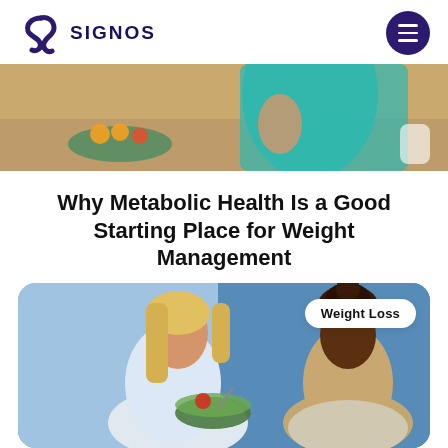SIGNOS
[Figure (photo): Top cropped photo showing a person in a teal top near a kitchen counter with fruits]
Why Metabolic Health Is a Good Starting Place for Weight Management
[Figure (photo): Two women, one blonde holding a salad bowl talking to another woman with braided hair, with a 'Weight Loss' badge overlay in the top right corner]